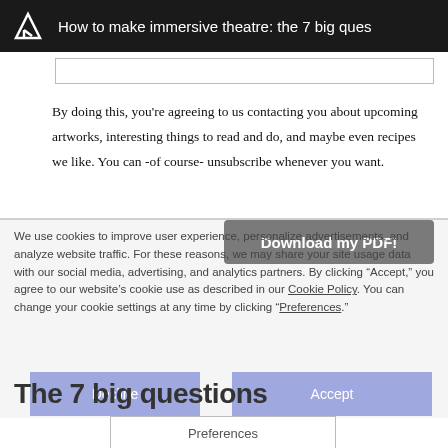How to make immersive theatre: the 7 big questions
By doing this, you're agreeing to us contacting you about upcoming artworks, interesting things to read and do, and maybe even recipes we like. You can -of course- unsubscribe whenever you want.
We use cookies to improve user experience, personalize advertisements, and analyze website traffic. For these reasons, we may share your site usage data with our social media, advertising, and analytics partners. By clicking “Accept,” you agree to our website’s cookie use as described in our Cookie Policy. You can change your cookie settings at any time by clicking “Preferences.”
Download my PDF!
Decline
Accept
The 7 big questions
Preferences